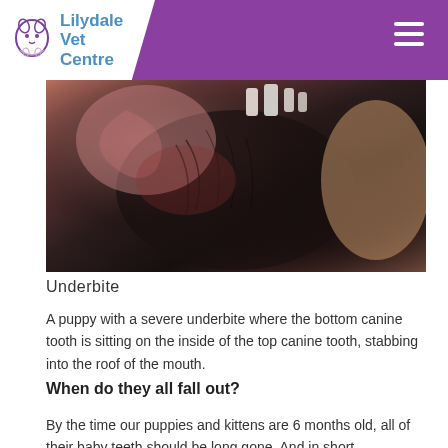Lilydale Vet Centre
[Figure (photo): Close-up photo of a puppy's mouth showing a severe underbite where the bottom canine tooth sits on the inside of the top canine tooth]
Underbite
A puppy with a severe underbite where the bottom canine tooth is sitting on the inside of the top canine tooth, stabbing into the roof of the mouth.
When do they all fall out?
By the time our puppies and kittens are 6 months old, all of their baby teeth should be long gone. And in short